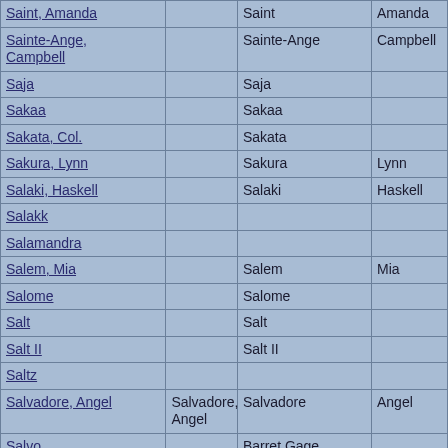| Saint, Amanda |  | Saint | Amanda |
| Sainte-Ange, Campbell |  | Sainte-Ange | Campbell |
| Saja |  | Saja |  |
| Sakaa |  | Sakaa |  |
| Sakata, Col. |  | Sakata |  |
| Sakura, Lynn |  | Sakura | Lynn |
| Salaki, Haskell |  | Salaki | Haskell |
| Salakk |  |  |  |
| Salamandra |  |  |  |
| Salem, Mia |  | Salem | Mia |
| Salome |  | Salome |  |
| Salt |  | Salt |  |
| Salt II |  | Salt II |  |
| Saltz |  |  |  |
| Salvadore, Angel | Salvadore, Angel | Salvadore | Angel |
| Salvo |  | Barret Gage |  |
| Salvo II |  | Salvo II |  |
| Sama-D |  | Sama-D |  |
| Samantha Morgan |  |  |  |